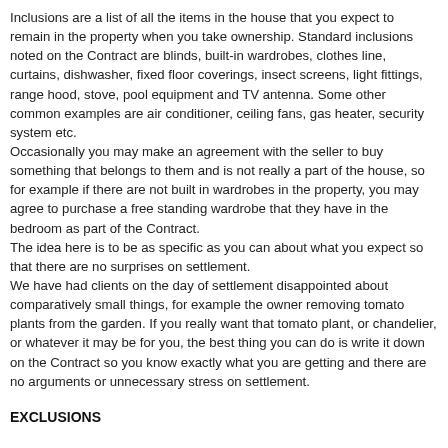Inclusions are a list of all the items in the house that you expect to remain in the property when you take ownership. Standard inclusions noted on the Contract are blinds, built-in wardrobes, clothes line, curtains, dishwasher, fixed floor coverings, insect screens, light fittings, range hood, stove, pool equipment and TV antenna. Some other common examples are air conditioner, ceiling fans, gas heater, security system etc.
Occasionally you may make an agreement with the seller to buy something that belongs to them and is not really a part of the house, so for example if there are not built in wardrobes in the property, you may agree to purchase a free standing wardrobe that they have in the bedroom as part of the Contract.
The idea here is to be as specific as you can about what you expect so that there are no surprises on settlement.
We have had clients on the day of settlement disappointed about comparatively small things, for example the owner removing tomato plants from the garden. If you really want that tomato plant, or chandelier, or whatever it may be for you, the best thing you can do is write it down on the Contract so you know exactly what you are getting and there are no arguments or unnecessary stress on settlement.
EXCLUSIONS